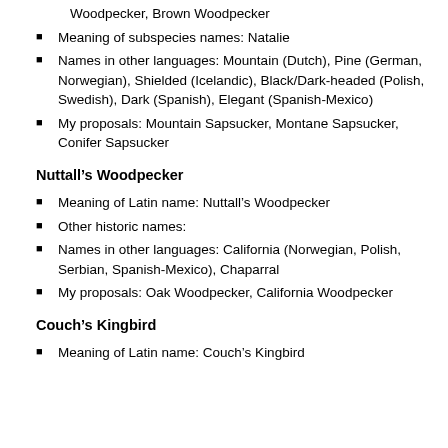Woodpecker, Brown Woodpecker
Meaning of subspecies names: Natalie
Names in other languages: Mountain (Dutch), Pine (German, Norwegian), Shielded (Icelandic), Black/Dark-headed (Polish, Swedish), Dark (Spanish), Elegant (Spanish-Mexico)
My proposals: Mountain Sapsucker, Montane Sapsucker, Conifer Sapsucker
Nuttall’s Woodpecker
Meaning of Latin name: Nuttall’s Woodpecker
Other historic names:
Names in other languages: California (Norwegian, Polish, Serbian, Spanish-Mexico), Chaparral
My proposals: Oak Woodpecker, California Woodpecker
Couch’s Kingbird
Meaning of Latin name: Couch’s Kingbird